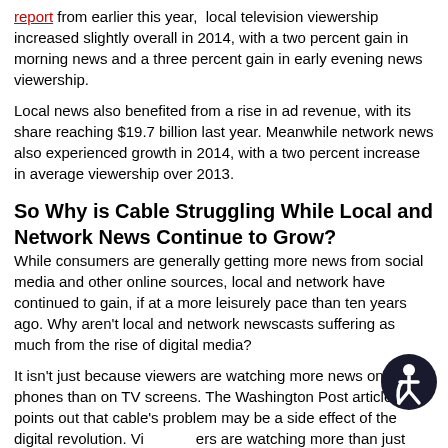report from earlier this year, local television viewership increased slightly overall in 2014, with a two percent gain in morning news and a three percent gain in early evening news viewership.
Local news also benefited from a rise in ad revenue, with its share reaching $19.7 billion last year. Meanwhile network news also experienced growth in 2014, with a two percent increase in average viewership over 2013.
So Why is Cable Struggling While Local and Network News Continue to Grow?
While consumers are generally getting more news from social media and other online sources, local and network have continued to gain, if at a more leisurely pace than ten years ago. Why aren't local and network newscasts suffering as much from the rise of digital media?
It isn't just because viewers are watching more news on their phones than on TV screens. The Washington Post article points out that cable's problem may be a side effect of the digital revolution. Viewers are watching more than just news online. They're streaming everything from soap operas to movies to sitcoms, and as a result some are